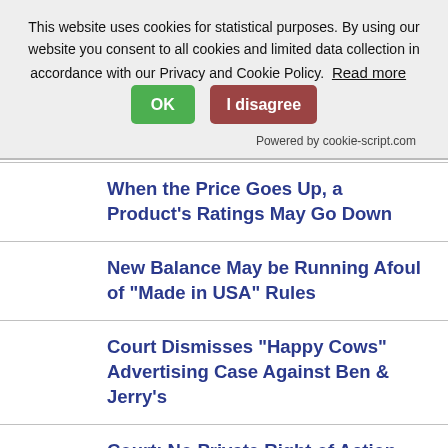This website uses cookies for statistical purposes. By using our website you consent to all cookies and limited data collection in accordance with our Privacy and Cookie Policy. Read more OK I disagree Powered by cookie-script.com
When the Price Goes Up, a Product's Ratings May Go Down
New Balance May be Running Afoul of "Made in USA" Rules
Court Dismisses "Happy Cows" Advertising Case Against Ben & Jerry's
Court: No Private Right of Action for Spoofing Caller ID
Google Sued for Tracking